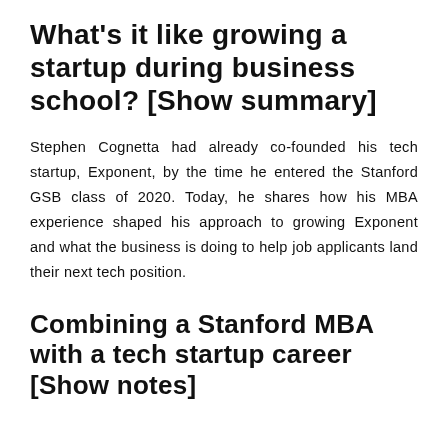What's it like growing a startup during business school? [Show summary]
Stephen Cognetta had already co-founded his tech startup, Exponent, by the time he entered the Stanford GSB class of 2020. Today, he shares how his MBA experience shaped his approach to growing Exponent and what the business is doing to help job applicants land their next tech position.
Combining a Stanford MBA with a tech startup career [Show notes]